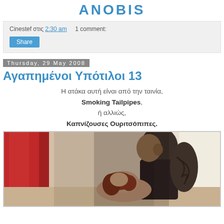ANOBIS
Cinestef στις 2:30 am   1 comment:
Share
Thursday, 29 May 2008
Αγαπημένοι Υπότιλοι 13
Η ατάκα αυτή είναι από την ταινία, Smoking Tailpipes, ή αλλιώς, Καπνίζουσες Ουριτσόπιπες.
[Figure (photo): Photo of two people, a man with tattoos and a woman with red hair, in an intimate pose]